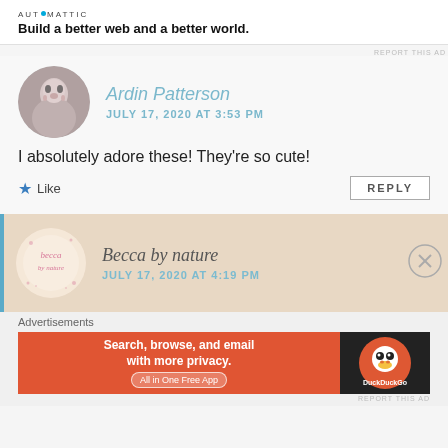[Figure (logo): Automattic logo with tagline 'Build a better web and a better world.']
REPORT THIS AD
[Figure (photo): Circular avatar photo of Ardin Patterson, black and white portrait]
Ardin Patterson
JULY 17, 2020 AT 3:53 PM
I absolutely adore these! They're so cute!
★ Like
REPLY
[Figure (logo): Becca by nature circular logo in pink on beige background]
Becca by nature
JULY 17, 2020 AT 4:19 PM
Advertisements
[Figure (screenshot): DuckDuckGo advertisement: 'Search, browse, and email with more privacy. All in One Free App' on orange background with DuckDuckGo logo on dark background]
REPORT THIS AD